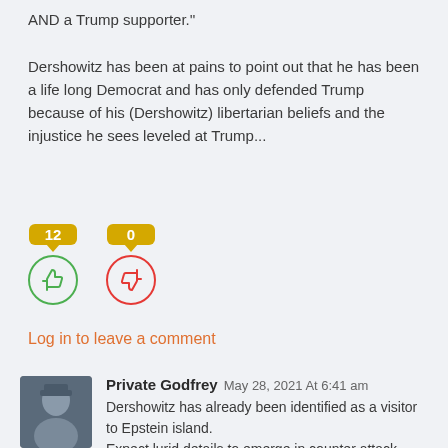AND a Trump supporter."
Dershowitz has been at pains to point out that he has been a life long Democrat and has only defended Trump because of his (Dershowitz) libertarian beliefs and the injustice he sees leveled at Trump...
[Figure (infographic): Vote buttons: thumbs up with count 12 (green circle), thumbs down with count 0 (red circle), both with yellow speech bubble counters]
Log in to leave a comment
Private Godfrey  May 28, 2021 At 6:41 am
Dershowitz has already been identified as a visitor to Epstein island.
Expect lurid details to emerge in counter attack.